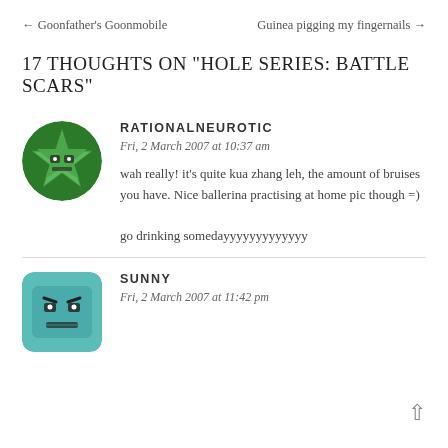← Goonfather's Goonmobile     Guinea pigging my fingernails →
17 thoughts on "Hole Series: Battle scars"
RATIONALNEUROTIC
Fri, 2 March 2007 at 10:37 am
wah really! it's quite kua zhang leh, the amount of bruises you have. Nice ballerina practising at home pic though =)

go drinking somedayyyyyyyyyyyyy
SUNNY
Fri, 2 March 2007 at 11:42 pm